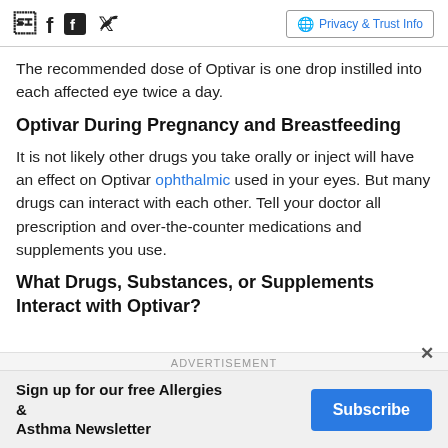Facebook icon, Twitter icon, Privacy & Trust Info
The recommended dose of Optivar is one drop instilled into each affected eye twice a day.
Optivar During Pregnancy and Breastfeeding
It is not likely other drugs you take orally or inject will have an effect on Optivar ophthalmic used in your eyes. But many drugs can interact with each other. Tell your doctor all prescription and over-the-counter medications and supplements you use.
What Drugs, Substances, or Supplements Interact with Optivar?
ADVERTISEMENT
Sign up for our free Allergies & Asthma Newsletter